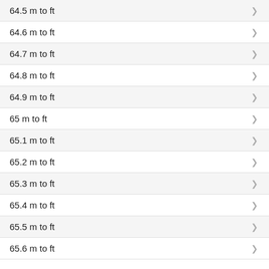64.5 m to ft
64.6 m to ft
64.7 m to ft
64.8 m to ft
64.9 m to ft
65 m to ft
65.1 m to ft
65.2 m to ft
65.3 m to ft
65.4 m to ft
65.5 m to ft
65.6 m to ft